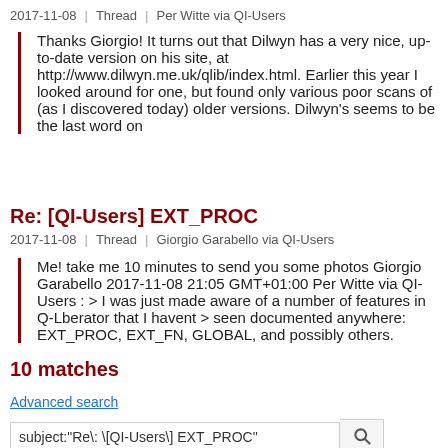2017-11-08 | Thread | Per Witte via QI-Users
Thanks Giorgio! It turns out that Dilwyn has a very nice, up-to-date version on his site, at http://www.dilwyn.me.uk/qlib/index.html. Earlier this year I looked around for one, but found only various poor scans of (as I discovered today) older versions. Dilwyn's seems to be the last word on
Re: [QI-Users] EXT_PROC
2017-11-08 | Thread | Giorgio Garabello via QI-Users
Me! take me 10 minutes to send you some photos Giorgio Garabello 2017-11-08 21:05 GMT+01:00 Per Witte via QI-Users : > I was just made aware of a number of features in Q-Lberator that I havent > seen documented anywhere: EXT_PROC, EXT_FN, GLOBAL, and possibly others.
10 matches
Advanced search
subject:"Re\: \[QI-Users\] EXT_PROC"